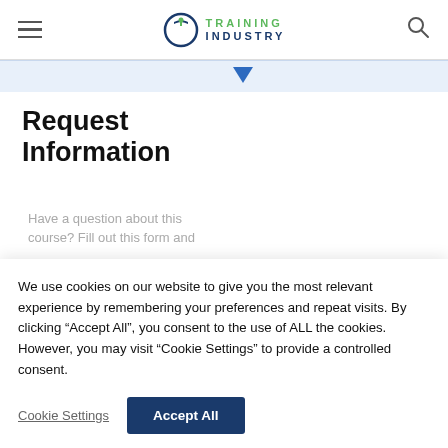Training Industry
[Figure (screenshot): Partial blue decorative bar with a blue downward-pointing triangle/chevron shape at top of content area]
Request Information
Have a question about this course? Fill out this form and
We use cookies on our website to give you the most relevant experience by remembering your preferences and repeat visits. By clicking “Accept All”, you consent to the use of ALL the cookies. However, you may visit “Cookie Settings” to provide a controlled consent.
Cookie Settings | Accept All